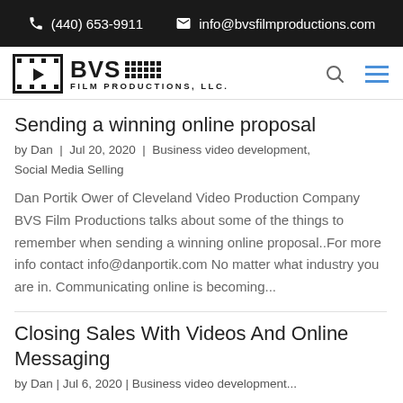(440) 653-9911  info@bvsfilmproductions.com
[Figure (logo): BVS Film Productions, LLC. logo with film frame icon, search icon, and hamburger menu]
Sending a winning online proposal
by Dan | Jul 20, 2020 | Business video development, Social Media Selling
Dan Portik Ower of Cleveland Video Production Company BVS Film Productions talks about some of the things to remember when sending a winning online proposal..For more info contact info@danportik.com No matter what industry you are in. Communicating online is becoming...
Closing Sales With Videos And Online Messaging
by Dan | Jul 6, 2020 | Business video development...